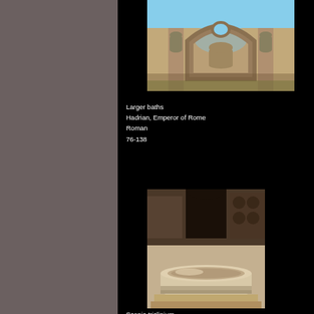[Figure (photo): Photograph of ancient Roman ruins showing large arched niches and stonework, with blue sky visible through an opening at top. Larger baths structure at Hadrian's Villa.]
Larger baths
Hadrian, Emperor of Rome
Roman
76-138
[Figure (photo): Photograph of ancient Roman architectural interior showing arched stonework and a large marble basin or pool, partially lit with dramatic shadows.]
Scenic triclinium